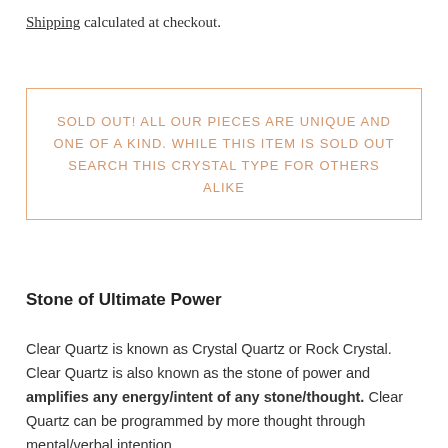Shipping calculated at checkout.
SOLD OUT! ALL OUR PIECES ARE UNIQUE AND ONE OF A KIND. WHILE THIS ITEM IS SOLD OUT SEARCH THIS CRYSTAL TYPE FOR OTHERS ALIKE
Stone of Ultimate Power
Clear Quartz is known as Crystal Quartz or Rock Crystal. Clear Quartz is also known as the stone of power and amplifies any energy/intent of any stone/thought. Clear Quartz can be programmed by more thought through mental/verbal intention